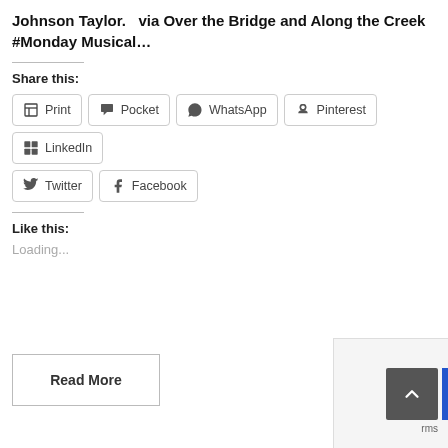Johnson Taylor.   via Over the Bridge and Along the Creek
#Monday Musical…
Share this:
Print
Pocket
WhatsApp
Pinterest
LinkedIn
Twitter
Facebook
Like this:
Loading...
Read More